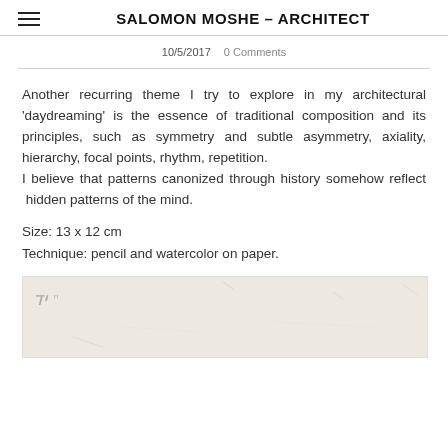SALOMON MOSHE – ARCHITECT
10/5/2017   0 Comments
Another recurring theme I try to explore in my architectural 'daydreaming' is the essence of traditional composition and its principles, such as symmetry and subtle asymmetry, axiality, hierarchy, focal points, rhythm, repetition.
I believe that patterns canonized through history somehow reflect  hidden patterns of the mind.
Size: 13 x 12 cm
Technique: pencil and watercolor on paper.
[Figure (illustration): A pencil and watercolor sketch on paper, partially visible at the bottom of the page. Light beige/cream background with faint pencil markings.]